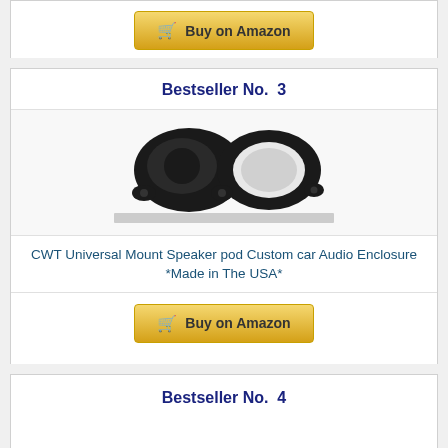[Figure (other): Buy on Amazon button at top of page]
Bestseller No. 3
[Figure (photo): Two black plastic speaker pod enclosures, one showing front face and one showing mounting ring/hole]
CWT Universal Mount Speaker pod Custom car Audio Enclosure *Made in The USA*
[Figure (other): Buy on Amazon button]
Bestseller No. 4